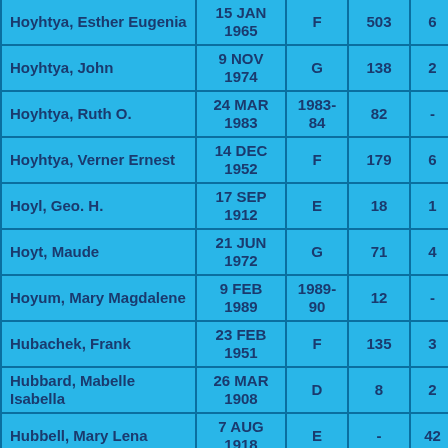| Name | Date | Type | Num1 | Num2 |
| --- | --- | --- | --- | --- |
| Hoyhtya, Esther Eugenia | 15 JAN 1965 | F | 503 | 6 |
| Hoyhtya, John | 9 NOV 1974 | G | 138 | 2 |
| Hoyhtya, Ruth O. | 24 MAR 1983 | 1983-84 | 82 | - |
| Hoyhtya, Verner Ernest | 14 DEC 1952 | F | 179 | 6 |
| Hoyl, Geo. H. | 17 SEP 1912 | E | 18 | 1 |
| Hoyt, Maude | 21 JUN 1972 | G | 71 | 4 |
| Hoyum, Mary Magdalene | 9 FEB 1989 | 1989-90 | 12 | - |
| Hubachek, Frank | 23 FEB 1951 | F | 135 | 3 |
| Hubbard, Mabelle Isabella | 26 MAR 1908 | D | 8 | 2 |
| Hubbell, Mary Lena | 7 AUG 1918 | E | - | 42 |
| Huchins, H. C. | 29 JAN | A | 146 | 18 |